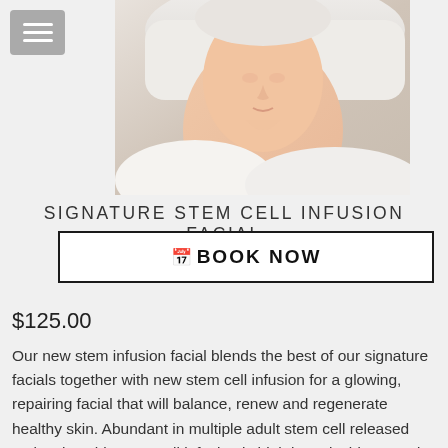[Figure (photo): Woman lying back with eyes closed receiving a facial treatment, wearing a white towel wrap, light background]
SIGNATURE STEM CELL INFUSION FACIAL
BOOK NOW
$125.00
Our new stem infusion facial blends the best of our signature facials together with new stem cell infusion for a glowing, repairing facial that will balance, renew and regenerate healthy skin. Abundant in multiple adult stem cell released molecules, this stem cell infusion is high in antioxidants and peptides in addition to stem released molecules combined with a series of